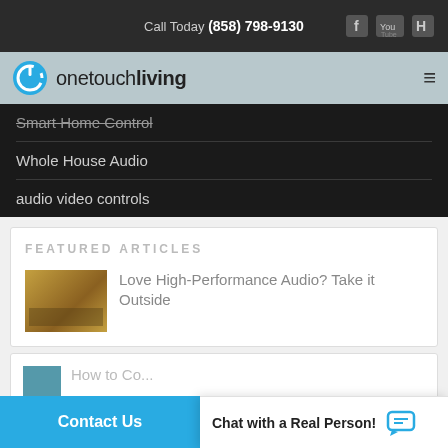Call Today (858) 798-9130
[Figure (logo): One Touch Living logo with blue power-button circle icon and wordmark]
Smart Home Control
Whole House Audio
audio video controls
FEATURED ARTICLES
Love High-Performance Audio? Take it Outside
How to Co...
Contact Us
Chat with a Real Person!